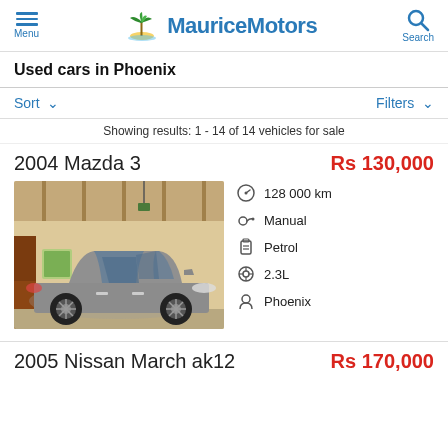MauriceMotors
Used cars in Phoenix
Sort ∨   Filters ∨
Showing results: 1 - 14 of 14 vehicles for sale
2004 Mazda 3   Rs 130,000
[Figure (photo): Side view of a silver/grey 2004 Mazda 3 sedan parked in a garage with cream-colored walls and a brown door on the left.]
128 000 km
Manual
Petrol
2.3L
Phoenix
2005 Nissan March ak12   Rs 170,000